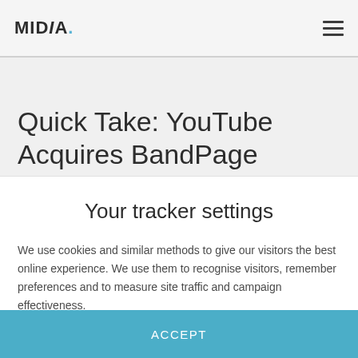MIDIA
Quick Take: YouTube Acquires BandPage
Your tracker settings
We use cookies and similar methods to give our visitors the best online experience. We use them to recognise visitors, remember preferences and to measure site traffic and campaign effectiveness.
ACCEPT